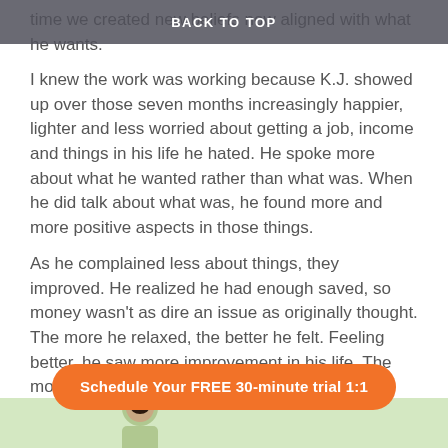BACK TO TOP
time we created new beliefs now aligned with what he wants.
I knew the work was working because K.J. showed up over those seven months increasingly happier, lighter and less worried about getting a job, income and things in his life he hated. He spoke more about what he wanted rather than what was. When he did talk about what was, he found more and more positive aspects in those things.
As he complained less about things, they improved. He realized he had enough saved, so money wasn't as dire an issue as originally thought. The more he relaxed, the better he felt. Feeling better, he saw more improvement in his life. The more that happened, the more he turned to his passions. Such as playing piano and writing.
[Figure (other): Call to action button: Schedule Your FREE 30-minute trial 1:1]
[Figure (illustration): Bottom strip with light green background and partial person/avatar illustration]